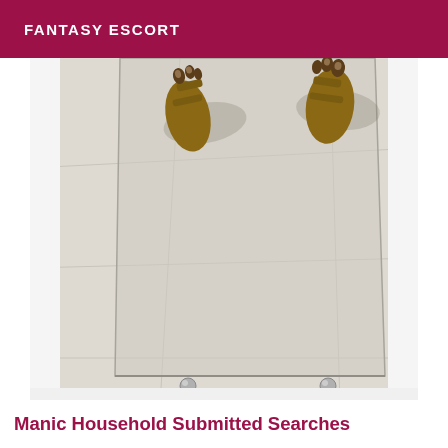FANTASY ESCORT
[Figure (photo): A photo showing feet wearing brown/gold flip-flop sandals standing on beige tiled floor, viewed from above with a glass mirror panel visible at an angle, with metal bolts at the bottom of the mirror frame.]
Manic Household Submitted Searches